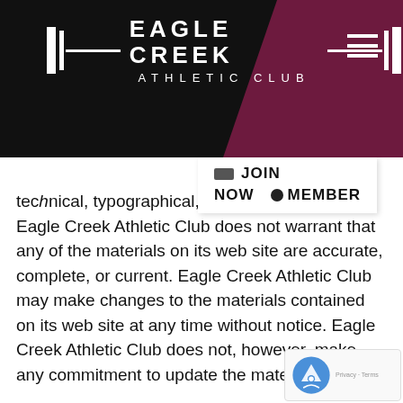[Figure (logo): Eagle Creek Athletic Club logo with barbell graphic on black background with maroon corner]
technical, typographical, or photographic errors. Eagle Creek Athletic Club does not warrant that any of the materials on its web site are accurate, complete, or current. Eagle Creek Athletic Club may make changes to the materials contained on its web site at any time without notice. Eagle Creek Athletic Club does not, however, make any commitment to update the materials.
6. Links
Eagle Creek Athletic Club has not reviewed all of the sites linked to its Internet web site and